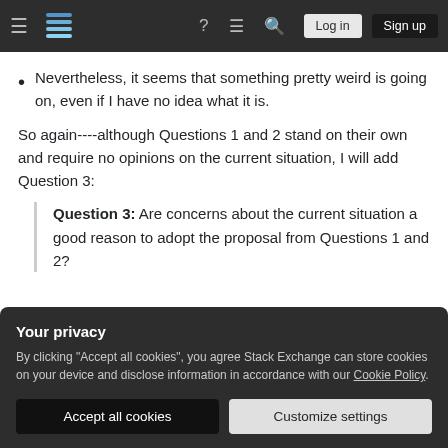Stack Exchange navigation bar with hamburger menu, logo, help, chat, search icons, Log in and Sign up buttons
Nevertheless, it seems that something pretty weird is going on, even if I have no idea what it is.
So again----although Questions 1 and 2 stand on their own and require no opinions on the current situation, I will add Question 3:
Question 3: Are concerns about the current situation a good reason to adopt the proposal from Questions 1 and 2?
Your privacy
By clicking "Accept all cookies", you agree Stack Exchange can store cookies on your device and disclose information in accordance with our Cookie Policy.
Accept all cookies
Customize settings